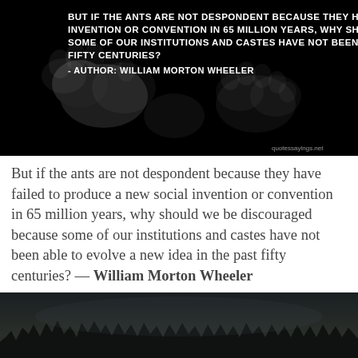[Figure (photo): Dark background image with white handprint impressions and white bold text of a quote about ants and social invention, attributed to William Morton Wheeler. Watermark 'quotessayings.net' in bottom right.]
But if the ants are not despondent because they have failed to produce a new social invention or convention in 65 million years, why should we be discouraged because some of our institutions and castes have not been able to evolve a new idea in the past fifty centuries? — William Morton Wheeler
[Figure (photo): Dark moody night landscape image with silhouette of forest treeline against a dark sky, partially visible at bottom of page.]